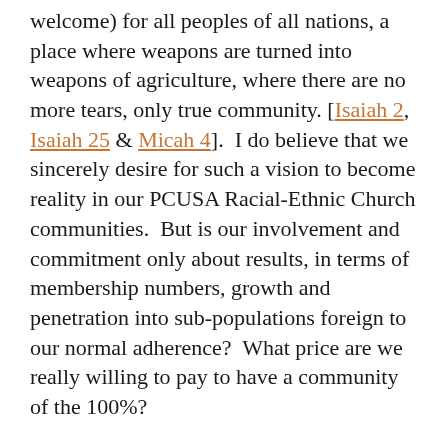welcome) for all peoples of all nations, a place where weapons are turned into weapons of agriculture, where there are no more tears, only true community. [Isaiah 2, Isaiah 25 & Micah 4].  I do believe that we sincerely desire for such a vision to become reality in our PCUSA Racial-Ethnic Church communities.  But is our involvement and commitment only about results, in terms of membership numbers, growth and penetration into sub-populations foreign to our normal adherence?  What price are we really willing to pay to have a community of the 100%?
Senator John Lewis, who has more than fought the good fight, and who has infinitely more authority